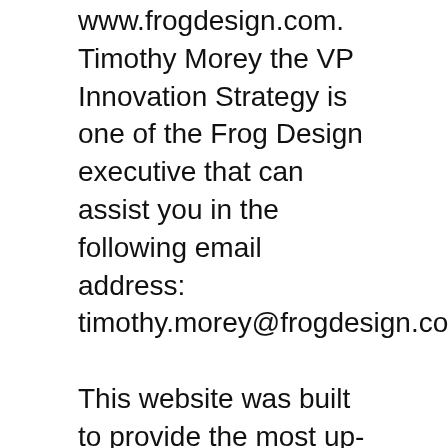www.frogdesign.com. Timothy Morey the VP Innovation Strategy is one of the Frog Design executive that can assist you in the following email address: timothy.morey@frogdesign.com.
This website was built to provide the most up-to-date, important contact information about the Frog Design Corporate Office & Headquarters including: Frog Design Address, Corporate Number, Human Resources and more.
Headquarterscontacts.com is a leading independent website that has no affiliation to